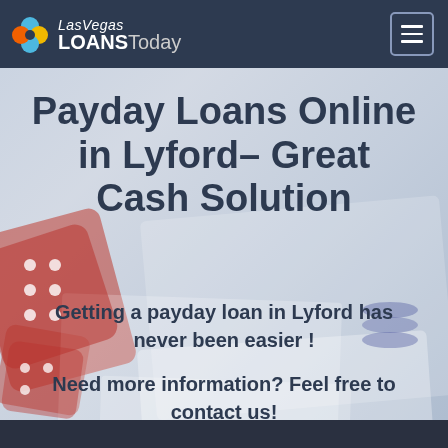[Figure (logo): Las Vegas Loans Today logo with colorful clover leaf icon and white text on dark navy background]
[Figure (other): Hamburger menu icon button with three horizontal lines in a rounded square border]
Payday Loans Online in Lyford– Great Cash Solution
Getting a payday loan in Lyford has never been easier !
Need more information? Feel free to contact us!